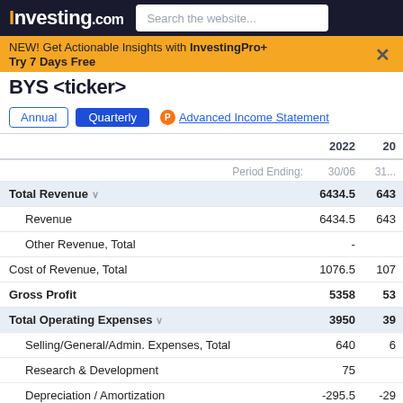Investing.com | Search the website...
NEW! Get Actionable Insights with InvestingPro+ Try 7 Days Free
BYS or similar ticker
Annual | Quarterly | Advanced Income Statement
|  | 2022
30/06 | 20...
31... |
| --- | --- | --- |
| Total Revenue | 6434.5 | 643... |
| Revenue | 6434.5 | 643... |
| Other Revenue, Total | - |  |
| Cost of Revenue, Total | 1076.5 | 107... |
| Gross Profit | 5358 | 53... |
| Total Operating Expenses | 3950 | 39... |
| Selling/General/Admin. Expenses, Total | 640 | 6... |
| Research & Development | 75 |  |
| Depreciation / Amortization | -295.5 | -29... |
| Interest Expense (Income) - Net Operating | -390 | -3... |
| Unusual Exp... |  |  |
| Other Opera... |  |  |
BATS Comments